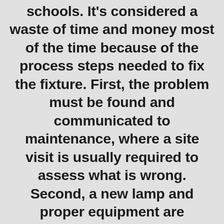schools. It's considered a waste of time and money most of the time because of the process steps needed to fix the fixture. First, the problem must be found and communicated to maintenance, where a site visit is usually required to assess what is wrong. Second, a new lamp and proper equipment are gathered to fix it. Sometimes a trip is necessary to purchase the correct lamp and to order a rental lift. Third, usually workstation equipment must be moved to install a ladder or lift. After the lamp is changed the workstation